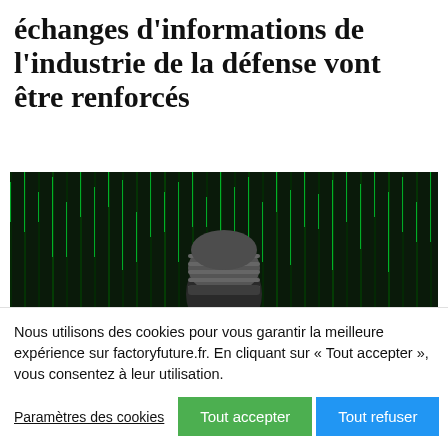échanges d'informations de l'industrie de la défense vont être renforcés
[Figure (photo): Person seen from behind wearing a knit beanie hat, against a green Matrix-style digital rain background]
Nous utilisons des cookies pour vous garantir la meilleure expérience sur factoryfuture.fr. En cliquant sur « Tout accepter », vous consentez à leur utilisation.
Paramètres des cookies | Tout accepter | Tout refuser